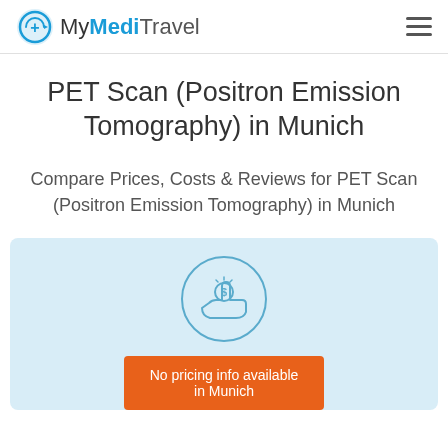MyMediTravel
PET Scan (Positron Emission Tomography) in Munich
Compare Prices, Costs & Reviews for PET Scan (Positron Emission Tomography) in Munich
[Figure (illustration): A hand with a coin and dollar sign icon inside a circle, representing pricing/cost information]
No pricing info available in Munich